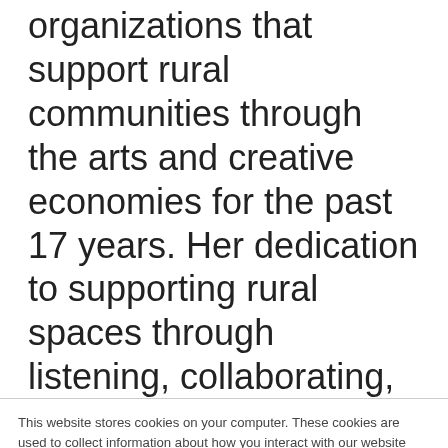organizations that support rural communities through the arts and creative economies for the past 17 years. Her dedication to supporting rural spaces through listening, collaborating, and open and honest sharing of ideas helps her elevate community partners
This website stores cookies on your computer. These cookies are used to collect information about how you interact with our website and allow us to remember you. We use this information in order to improve and customize your browsing experience and for analytics and metrics about our visitors both on this website and other media. To find out more about the cookies we use, see our Privacy Policy.
If you decline, your information won't be tracked when you visit this website. A single cookie will be used in your browser to remember your preference not to be tracked.
Accept | Decline